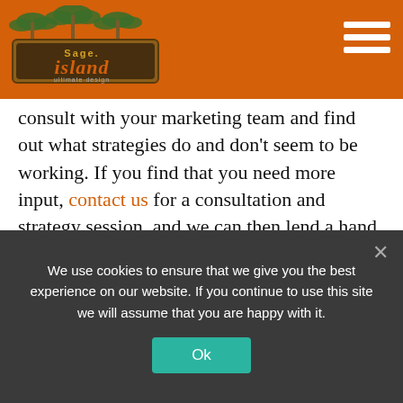Sage Island - navigation header with logo and hamburger menu
consult with your marketing team and find out what strategies do and don't seem to be working. If you find that you need more input, contact us for a consultation and strategy session, and we can then lend a hand in implementing a marketing plan for you and your business. You can master the buyer's journey, and Sage Island's team can help!
< OLDER
NEWER >
We use cookies to ensure that we give you the best experience on our website. If you continue to use this site we will assume that you are happy with it.
Ok